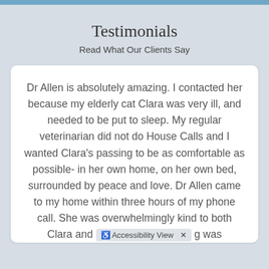Testimonials
Read What Our Clients Say
Dr Allen is absolutely amazing. I contacted her because my elderly cat Clara was very ill, and needed to be put to sleep. My regular veterinarian did not do House Calls and I wanted Clara's passing to be as comfortable as possible- in her own home, on her own bed, surrounded by peace and love. Dr Allen came to my home within three hours of my phone call. She was overwhelmingly kind to both Clara and [Accessibility View] g was